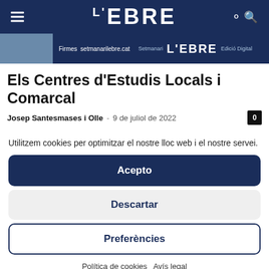L'EBRE
[Figure (screenshot): Banner strip showing 'Firmes setmanarilebre.cat' and 'Setmanari L'EBRE Edició Digital' on dark blue background]
Els Centres d'Estudis Locals i Comarcal
Josep Santesmases i Olle  -  9 de juliol de 2022  0
Utilitzem cookies per optimitzar el nostre lloc web i el nostre servei.
Acepto
Descartar
Preferències
Política de cookies   Avís legal